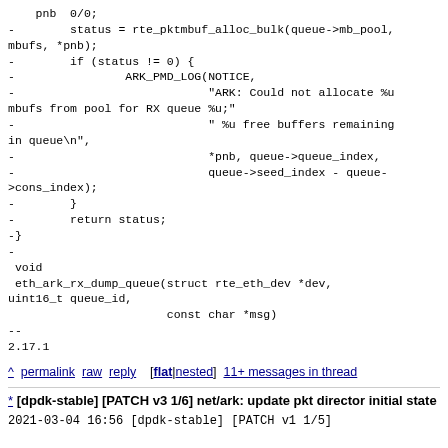- pnb 0/0;
-        status = rte_pktmbuf_alloc_bulk(queue->mb_pool, mbufs, *pnb);
-        if (status != 0) {
-                ARK_PMD_LOG(NOTICE,
-                            "ARK: Could not allocate %u mbufs from pool for RX queue %u;"
-                            " %u free buffers remaining in queue\n",
-                            *pnb, queue->queue_index,
-                            queue->seed_index - queue->cons_index);
-        }
-        return status;
-}
-
 void
 eth_ark_rx_dump_queue(struct rte_eth_dev *dev, uint16_t queue_id,
                       const char *msg)
--
2.17.1
^ permalink raw reply   [flat|nested] 11+ messages in thread
* [dpdk-stable] [PATCH v3 1/6] net/ark: update pkt director initial state
  2021-03-04 16:56 [dpdk-stable] [PATCH v1 1/5]